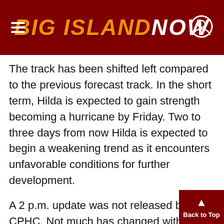BIG ISLAND NOW
The track has been shifted left compared to the previous forecast track. In the short term, Hilda is expected to gain strength becoming a hurricane by Friday. Two to three days from now Hilda is expected to begin a weakening trend as it encounters unfavorable conditions for further development.
A 2 p.m. update was not released by the CPHC. Not much has changed with regards to the forecast. See below for forecast details.
***Updated at 11:05 a.m. to include information from the Central Pacific Hurricane Center and the National Hurricane Center's 11 a.m. updates. ***